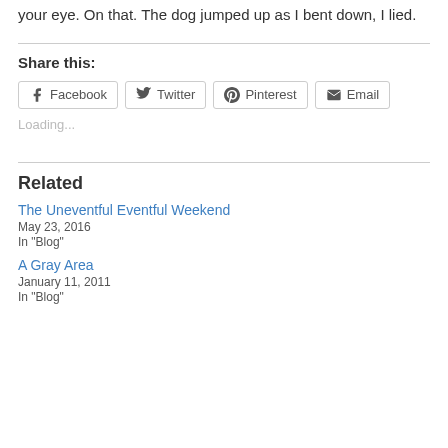your eye. On that. The dog jumped up as I bent down, I lied.
Share this:
Facebook  Twitter  Pinterest  Email
Loading...
Related
The Uneventful Eventful Weekend
May 23, 2016
In "Blog"
A Gray Area
January 11, 2011
In "Blog"